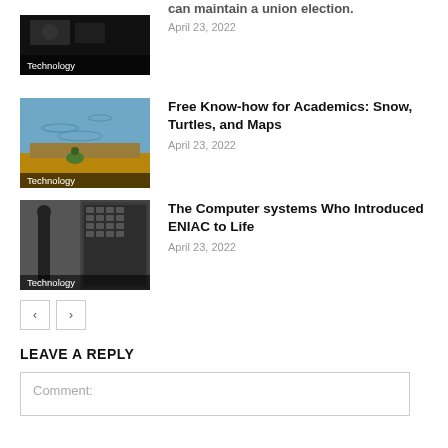[Figure (photo): Dark photo with Technology label, partial article about union election]
can maintain a union election.
April 23, 2022
[Figure (photo): Turtle on a log by blue water with Technology label]
Free Know-how for Academics: Snow, Turtles, and Maps
April 23, 2022
[Figure (photo): Black and white photo of person near large computer with Technology label]
The Computer systems Who Introduced ENIAC to Life
April 23, 2022
LEAVE A REPLY
Comment: